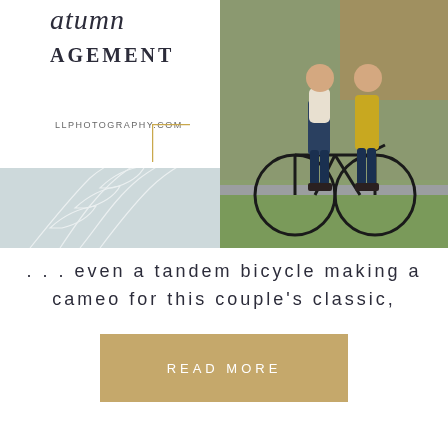[Figure (photo): Left panel of a photography business card/branding element with script text 'atumn', bold text 'AGEMENT', floral line art on a light blue-grey background, gold corner bracket, and website URL 'LLPHOTOGRAPHY.COM']
[Figure (photo): Photo of two people riding a tandem bicycle on a paved path outdoors. One person wears a yellow jacket and the other wears dark clothing.]
. . . even a tandem bicycle making a cameo for this couple's classic,
READ MORE